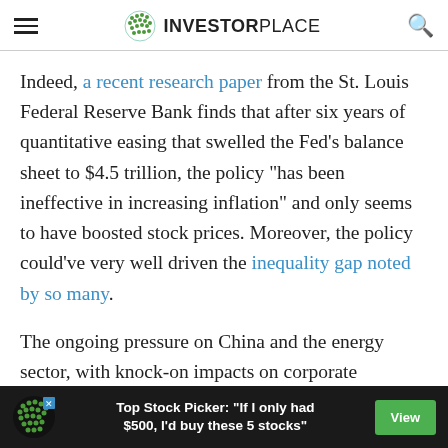INVESTORPLACE
Indeed, a recent research paper from the St. Louis Federal Reserve Bank finds that after six years of quantitative easing that swelled the Fed’s balance sheet to $4.5 trillion, the policy “has been ineffective in increasing inflation” and only seems to have boosted stock prices. Moreover, the policy could’ve very well driven the inequality gap noted by so many.
The ongoing pressure on China and the energy sector, with knock-on impacts on corporate earnings, doesn’t look like it’s going anywhere either.
[Figure (infographic): Advertisement banner: green dot logo, text 'Top Stock Picker: "If I only had $500, I’d buy these 5 stocks"', green View button]